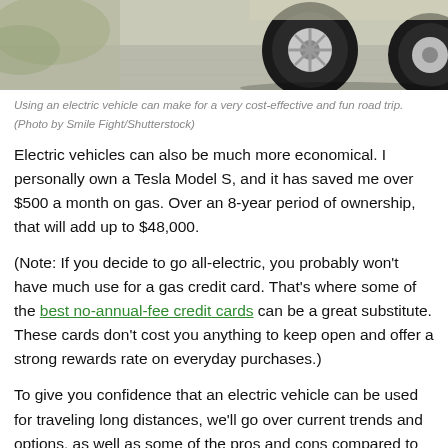[Figure (photo): Photo of an electric vehicle charging or parked, showing wheel and charging cable area, cropped at top of page]
Using an electric vehicle can make for a very cost-effective and fun road trip. (Photo by Smile Fight/Shutterstock)
Electric vehicles can also be much more economical. I personally own a Tesla Model S, and it has saved me over $500 a month on gas. Over an 8-year period of ownership, that will add up to $48,000.
(Note: If you decide to go all-electric, you probably won't have much use for a gas credit card. That's where some of the best no-annual-fee credit cards can be a great substitute. These cards don't cost you anything to keep open and offer a strong rewards rate on everyday purchases.)
To give you confidence that an electric vehicle can be used for traveling long distances, we'll go over current trends and options, as well as some of the pros and cons compared to